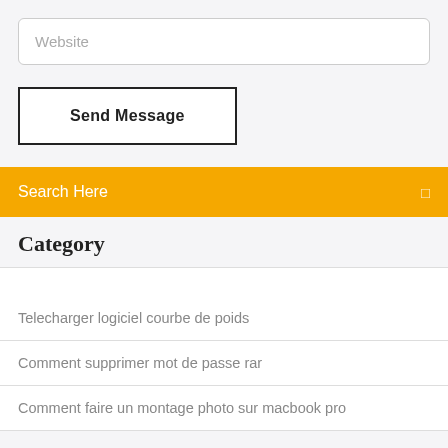Website
Send Message
Search Here
Category
Telecharger logiciel courbe de poids
Comment supprimer mot de passe rar
Comment faire un montage photo sur macbook pro